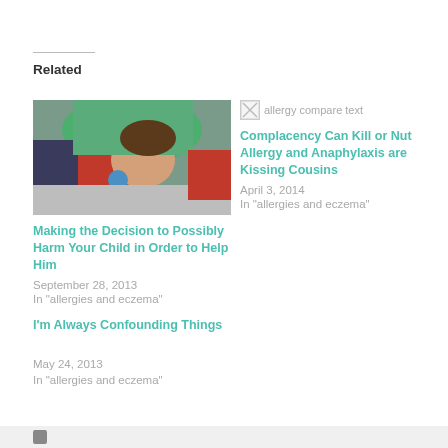Related
[Figure (photo): Photo of a child lying down, wearing a red and green outfit, being examined or cared for]
Making the Decision to Possibly Harm Your Child in Order to Help Him
September 28, 2013
In "allergies and eczema"
[Figure (photo): Broken image placeholder labeled 'allergy compare text']
Complacency Can Kill or Nut Allergy and Anaphylaxis are Kissing Cousins
April 3, 2014
In "allergies and eczema"
I'm Always Confounding Things
May 24, 2013
In "allergies and eczema"